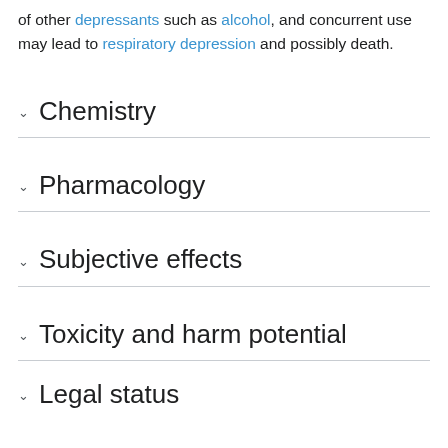of other depressants such as alcohol, and concurrent use may lead to respiratory depression and possibly death.
Chemistry
Pharmacology
Subjective effects
Toxicity and harm potential
Legal status